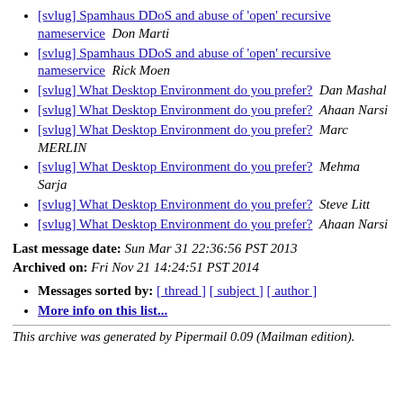[svlug] Spamhaus DDoS and abuse of 'open' recursive nameservice  Don Marti
[svlug] Spamhaus DDoS and abuse of 'open' recursive nameservice  Rick Moen
[svlug] What Desktop Environment do you prefer?  Dan Mashal
[svlug] What Desktop Environment do you prefer?  Ahaan Narsi
[svlug] What Desktop Environment do you prefer?  Marc MERLIN
[svlug] What Desktop Environment do you prefer?  Mehma Sarja
[svlug] What Desktop Environment do you prefer?  Steve Litt
[svlug] What Desktop Environment do you prefer?  Ahaan Narsi
Last message date: Sun Mar 31 22:36:56 PST 2013
Archived on: Fri Nov 21 14:24:51 PST 2014
Messages sorted by: [ thread ] [ subject ] [ author ]
More info on this list...
This archive was generated by Pipermail 0.09 (Mailman edition).